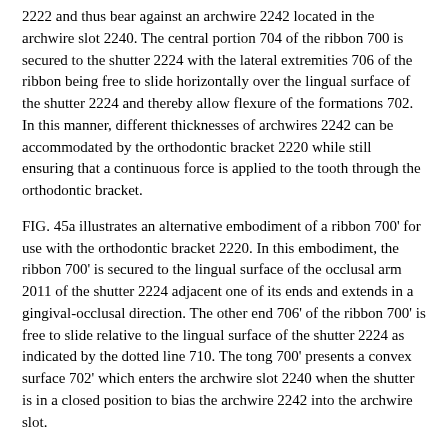2222 and thus bear against an archwire 2242 located in the archwire slot 2240. The central portion 704 of the ribbon 700 is secured to the shutter 2224 with the lateral extremities 706 of the ribbon being free to slide horizontally over the lingual surface of the shutter 2224 and thereby allow flexure of the formations 702. In this manner, different thicknesses of archwires 2242 can be accommodated by the orthodontic bracket 2220 while still ensuring that a continuous force is applied to the tooth through the orthodontic bracket.
FIG. 45a illustrates an alternative embodiment of a ribbon 700' for use with the orthodontic bracket 2220. In this embodiment, the ribbon 700' is secured to the lingual surface of the occlusal arm 2011 of the shutter 2224 adjacent one of its ends and extends in a gingival-occlusal direction. The other end 706' of the ribbon 700' is free to slide relative to the lingual surface of the shutter 2224 as indicated by the dotted line 710. The tong 700' presents a convex surface 702' which enters the archwire slot 2240 when the shutter is in a closed position to bias the archwire 2242 into the archwire slot.
FIGS. 46 and 47 illustrate alternative embodiments of orthodontic brackets 1220' similar to that illustrate in FIGS. 38 to 41. In these embodiments, like reference numerals will be used to indicate like components of the embodiment of FIGS. 38 to 41 with a "'" added